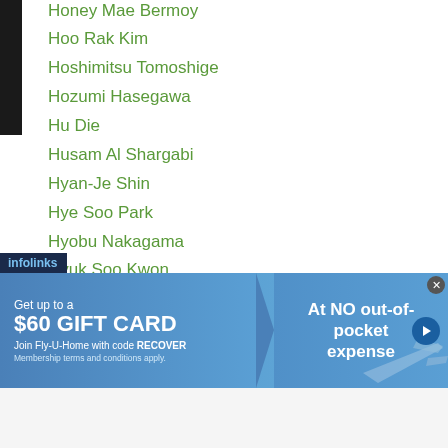Honey Mae Bermoy
Hoo Rak Kim
Hoshimitsu Tomoshige
Hozumi Hasegawa
Hu Die
Husam Al Shargabi
Hyan-Je Shin
Hye Soo Park
Hyobu Nakagama
Hyuk Soo Kwon
Hyuk Tak Joo
Hyun Kyum Park
Hyun-Kyum Park
Hyun Mi Choi
Hyun Shik Kim
...oo Um
[Figure (infographic): Infolinks advertisement banner: Get up to a $60 GIFT CARD. Join Fly-U-Home with code RECOVER. At NO out-of-pocket expense.]